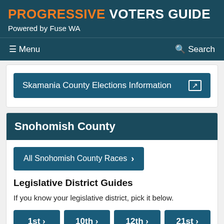PROGRESSIVE VOTERS GUIDE
Powered by Fuse WA
≡ Menu   🔍 Search
Skamania County Elections Information ↗
Snohomish County
All Snohomish County Races ›
Legislative District Guides
If you know your legislative district, pick it below.
1st › 10th › 12th › 21st ›